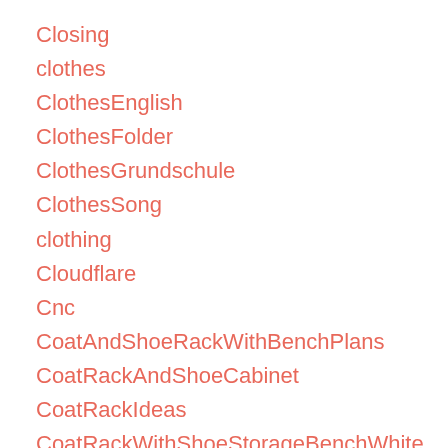Closing
clothes
ClothesEnglish
ClothesFolder
ClothesGrundschule
ClothesSong
clothing
Cloudflare
Cnc
CoatAndShoeRackWithBenchPlans
CoatRackAndShoeCabinet
CoatRackIdeas
CoatRackWithShoeStorageBenchWhite
Coffee